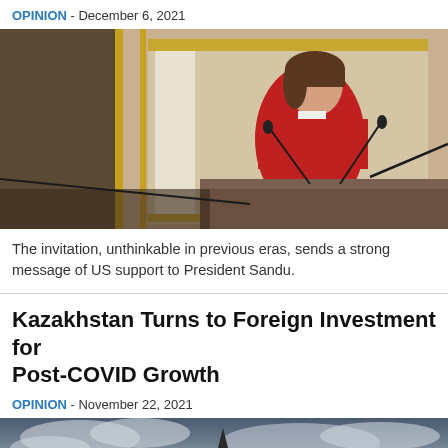OPINION - December 6, 2021
[Figure (photo): Woman in red blazer speaking at a podium with microphones in an ornate room with gold decorations]
The invitation, unthinkable in previous eras, sends a strong message of US support to President Sandu.
Kazakhstan Turns to Foreign Investment for Post-COVID Growth
OPINION - November 22, 2021
[Figure (photo): Aerial/skyline view of a city with dramatic cloudy sky and a tall tower or spire visible]